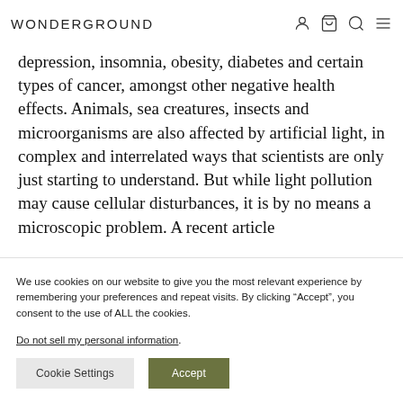WONDERGROUND
depression, insomnia, obesity, diabetes and certain types of cancer, amongst other negative health effects. Animals, sea creatures, insects and microorganisms are also affected by artificial light, in complex and interrelated ways that scientists are only just starting to understand. But while light pollution may cause cellular disturbances, it is by no means a microscopic problem. A recent article
We use cookies on our website to give you the most relevant experience by remembering your preferences and repeat visits. By clicking “Accept”, you consent to the use of ALL the cookies.
Do not sell my personal information.
Cookie Settings  Accept